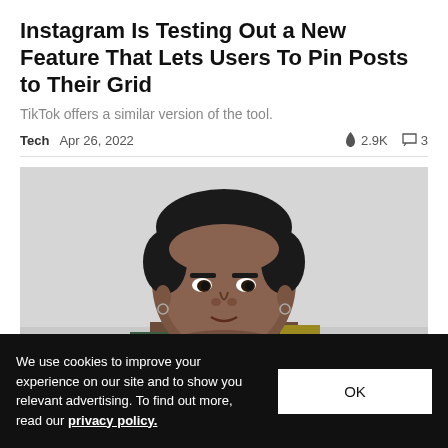Instagram Is Testing Out a New Feature That Lets Users To Pin Posts to Their Grid
TikTok offers a similar version of the tool.
Tech  Apr 26, 2022  🔥 2.9K  💬 3
[Figure (photo): Portrait photo of a young Black man with curly hair, small hoop earrings, wearing a green/yellow scarf or jacket, against a light gray background.]
We use cookies to improve your experience on our site and to show you relevant advertising. To find out more, read our privacy policy.